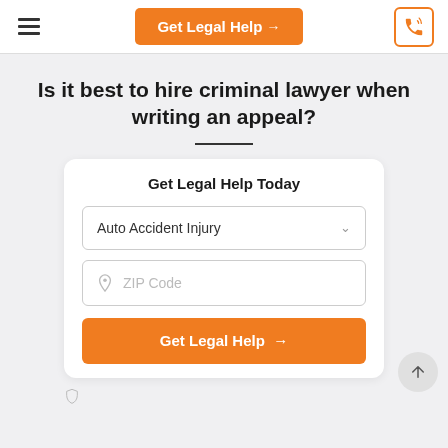Get Legal Help →
Is it best to hire criminal lawyer when writing an appeal?
Get Legal Help Today
Auto Accident Injury
ZIP Code
Get Legal Help →